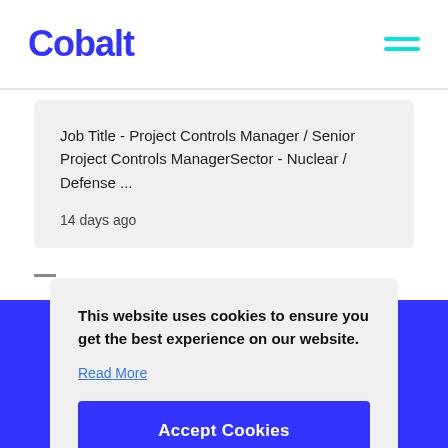Cobalt
Job Title - Project Controls Manager / Senior Project Controls ManagerSector - Nuclear / Defense ...
14 days ago
This website uses cookies to ensure you get the best experience on our website.
Read More
Accept Cookies